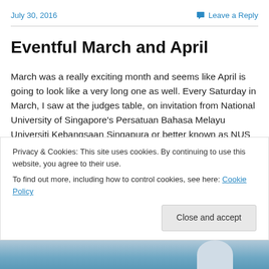July 30, 2016    Leave a Reply
Eventful March and April
March was a really exciting month and seems like April is going to look like a very long one as well. Every Saturday in March, I saw at the judges table, on invitation from National University of Singapore's Persatuan Bahasa Melayu Universiti Kebangsaan Singapura or better known as NUS PBMUKS, to… Continue reading
Privacy & Cookies: This site uses cookies. By continuing to use this website, you agree to their use.
To find out more, including how to control cookies, see here: Cookie Policy
Close and accept
[Figure (photo): Partial view of a blue-toned photograph at the bottom of the page]